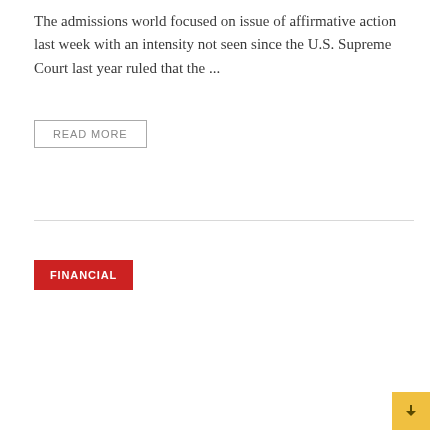The admissions world focused on issue of affirmative action last week with an intensity not seen since the U.S. Supreme Court last year ruled that the ...
READ MORE
FINANCIAL